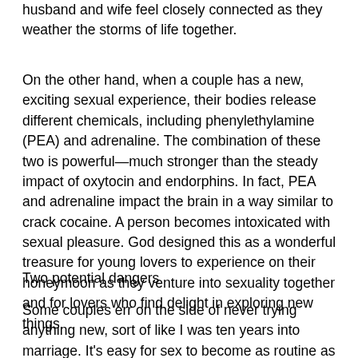husband and wife feel closely connected as they weather the storms of life together.
On the other hand, when a couple has a new, exciting sexual experience, their bodies release different chemicals, including phenylethylamine (PEA) and adrenaline. The combination of these two is powerful—much stronger than the steady impact of oxytocin and endorphins. In fact, PEA and adrenaline impact the brain in a way similar to crack cocaine. A person becomes intoxicated with sexual pleasure. God designed this as a wonderful treasure for young lovers to experience on their honeymoon as they venture into sexuality together and for lovers who find delight in exploring new things.
Two potential dangers
Some couples err on the side of never trying anything new, sort of like I was ten years into marriage. It's easy for sex to become as routine as brushing your teeth or driving to